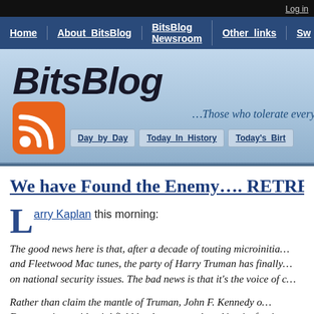Log in
Home | About_BitsBlog | BitsBlog Newsroom | Other_links | Sw...
[Figure (screenshot): BitsBlog website header with logo, tagline '...Those who tolerate every...', RSS icon, and navigation tabs: Day by Day, Today In History, Today's Birt...]
We have Found the Enemy.... RETRE...
Larry Kaplan this morning:
The good news here is that, after a decade of touting microinitia... and Fleetwood Mac tunes, the party of Harry Truman has finally... on national security issues. The bad news is that it's the voice of c...
Rather than claim the mantle of Truman, John F. Kennedy o... Democratic presidential field lately seems to be taking its foreig... New York Review of Books.